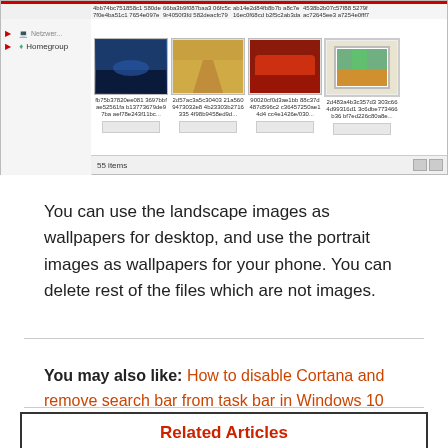[Figure (screenshot): Windows Explorer window showing image thumbnails with hash-named files and Homegroup in sidebar. Shows 55 items at bottom status bar.]
You can use the landscape images as wallpapers for desktop, and use the portrait images as wallpapers for your phone. You can delete rest of the files which are not images.
You may also like: How to disable Cortana and remove search bar from task bar in Windows 10
Related Articles